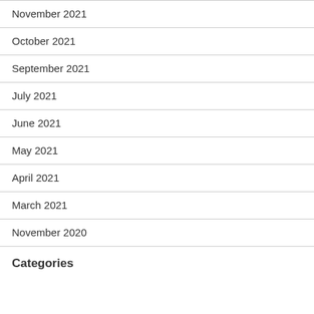November 2021
October 2021
September 2021
July 2021
June 2021
May 2021
April 2021
March 2021
November 2020
Categories